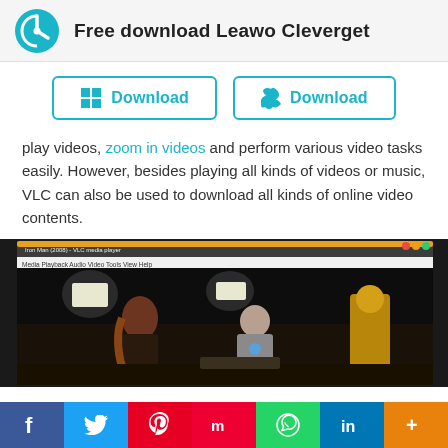Free download Leawo Cleverget
[Figure (screenshot): Two download buttons: Windows Download and Mac Download, styled with teal border and icon]
play videos, zoom in videos and perform various video tasks easily. However, besides playing all kinds of videos or music, VLC can also be used to download all kinds of online video contents.
[Figure (screenshot): VLC media player screenshot showing Iron Man movie scene with two characters in a workshop lab environment]
[Figure (infographic): Social share bar with Facebook (blue), Twitter (light blue), Pinterest (red), Mix (red), WhatsApp (green), LinkedIn (blue), and More (orange) buttons]